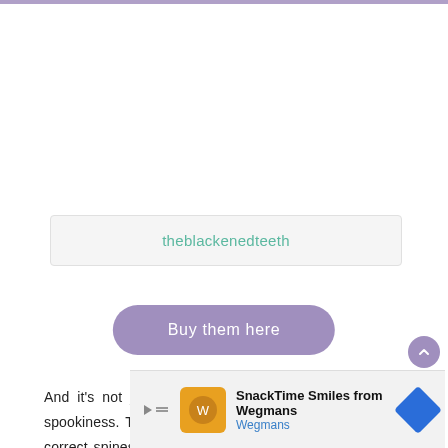theblackenedteeth
Buy them here
And it's not just the skull candles that can bring out the spookiness. These candles below, shaped like anatomically correct spines, already induce the creepiness without being lit. There's a joke about "sending shivers down your spine" somewhere in here.
[Figure (screenshot): Advertisement banner for SnackTime Smiles from Wegmans]